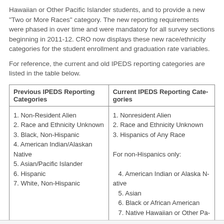Hawaiian or Other Pacific Islander students, and to provide a new "Two or More Races" category. The new reporting requirements were phased in over time and were mandatory for all survey sections beginning in 2011-12. CRO now displays these new race/ethnicity categories for the student enrollment and graduation rate variables.
For reference, the current and old IPEDS reporting categories are listed in the table below.
| Previous IPEDS Reporting Categories | Current IPEDS Reporting Categories |
| --- | --- |
| 1. Non-Resident Alien
2. Race and Ethnicity Unknown
3. Black, Non-Hispanic
4. American Indian/Alaskan Native
5. Asian/Pacific Islander
6. Hispanic
7. White, Non-Hispanic | 1. Nonresident Alien
2. Race and Ethnicity Unknown
3. Hispanics of Any Race

For non-Hispanics only:

4. American Indian or Alaska Native
5. Asian
6. Black or African American
7. Native Hawaiian or Other Pacific Islander
8. White
9. Two or More Races |